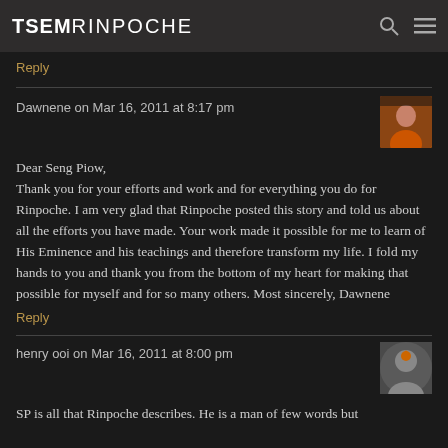TSEMRINPOCHE
Reply
Dawnene on Mar 16, 2011 at 8:17 pm
Dear Seng Piow,
Thank you for your efforts and work and for everything you do for Rinpoche. I am very glad that Rinpoche posted this story and told us about all the efforts you have made. Your work made it possible for me to learn of His Eminence and his teachings and therefore transform my life. I fold my hands to you and thank you from the bottom of my heart for making that possible for myself and for so many others. Most sincerely, Dawnene
Reply
henry ooi on Mar 16, 2011 at 8:00 pm
SP is all that Rinpoche describes. He is a man of few words but